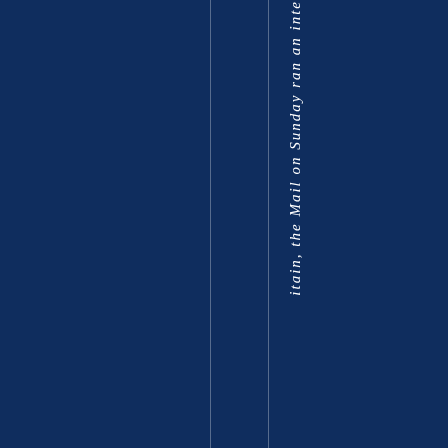[Figure (other): Dark navy blue background with two thin vertical white lines. Vertically oriented italic white text reading 'itain, the Mail on Sunday ran an inte' running along the right portion of the page.]